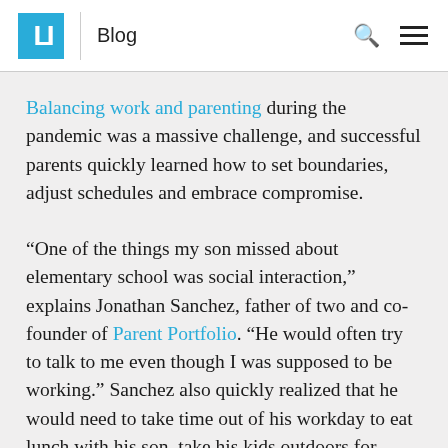LH | Blog
Balancing work and parenting during the pandemic was a massive challenge, and successful parents quickly learned how to set boundaries, adjust schedules and embrace compromise.
“One of the things my son missed about elementary school was social interaction,” explains Jonathan Sanchez, father of two and co-founder of Parent Portfolio. “He would often try to talk to me even though I was supposed to be working.” Sanchez also quickly realized that he would need to take time out of his workday to eat lunch with his son, take his kids outdoors for biking and other activities, and so on. While his remote work schedule was flexible enough to allow him to spend more time with his kids, Sanchez still had to get his job done which made pandemic parenting